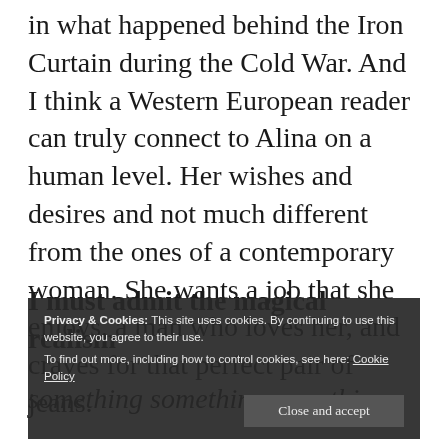in what happened behind the Iron Curtain during the Cold War. And I think a Western European reader can truly connect to Alina on a human level. Her wishes and desires and not much different from the ones of a contemporary woman. She wants a job that she enjoys, a man who loves her, and craves for that perfect pair of jeans.
I must admit the magical realism
[partially obscured by cookie banner]
Privacy & Cookies: This site uses cookies. By continuing to use this website, you agree to their use. To find out more, including how to control cookies, see here: Cookie Policy